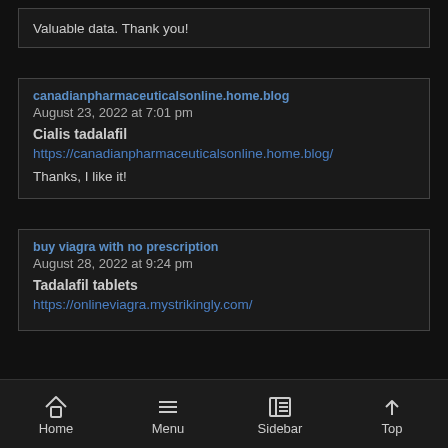Valuable data. Thank you!
canadianpharmaceuticalsonline.home.blog
August 23, 2022 at 7:01 pm
Cialis tadalafil
https://canadianpharmaceuticalsonline.home.blog/

Thanks, I like it!
buy viagra with no prescription
August 28, 2022 at 9:24 pm
Tadalafil tablets
https://onlineviagra.mystrikingly.com/
Home  Menu  Sidebar  Top